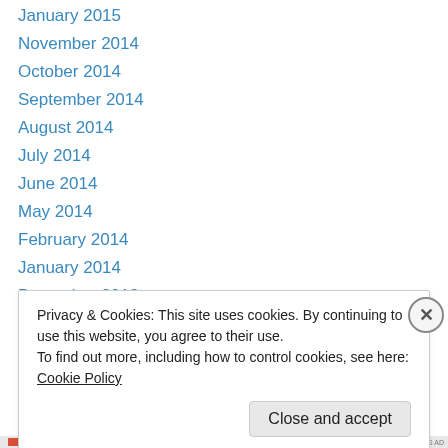January 2015
November 2014
October 2014
September 2014
August 2014
July 2014
June 2014
May 2014
February 2014
January 2014
December 2013
November 2013
October 2013
Privacy & Cookies: This site uses cookies. By continuing to use this website, you agree to their use.
To find out more, including how to control cookies, see here: Cookie Policy